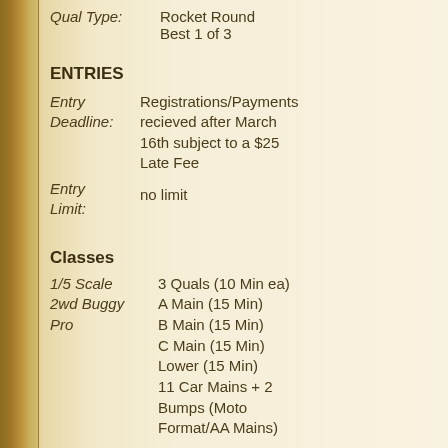Qual Type: Rocket Round Best 1 of 3
ENTRIES
Entry Deadline: Registrations/Payments recieved after March 16th subject to a $25 Late Fee
Entry Limit: no limit
Classes
1/5 Scale 2wd Buggy Pro   3 Quals (10 Min ea) A Main (15 Min) B Main (15 Min) C Main (15 Min) Lower (15 Min) 11 Car Mains + 2 Bumps (Moto Format/AA Mains)